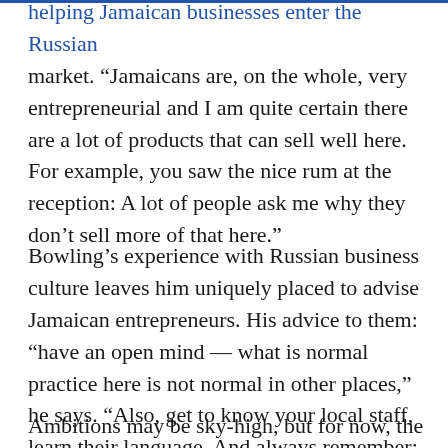helping Jamaican businesses enter the Russian market. “Jamaicans are, on the whole, very entrepreneurial and I am quite certain there are a lot of products that can sell well here. For example, you saw the nice rum at the reception: A lot of people ask me why they don’t sell more of that here.”
Bowling’s experience with Russian business culture leaves him uniquely placed to advise Jamaican entrepreneurs. His advice to them: “have an open mind — what is normal practice here is not normal in other places,” he says. “Also, get to know your local staff, learn their language. And always remember: trust but verify.”
Ambitions may be sky-high, but for now, the reality